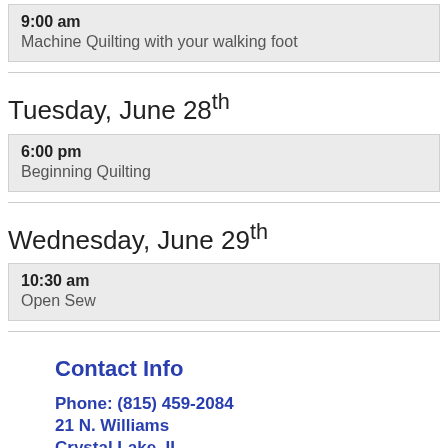9:00 am
Machine Quilting with your walking foot
Tuesday, June 28th
6:00 pm
Beginning Quilting
Wednesday, June 29th
10:30 am
Open Sew
Contact Info
Phone: (815) 459-2084
21 N. Williams
Crystal Lake, IL
60014